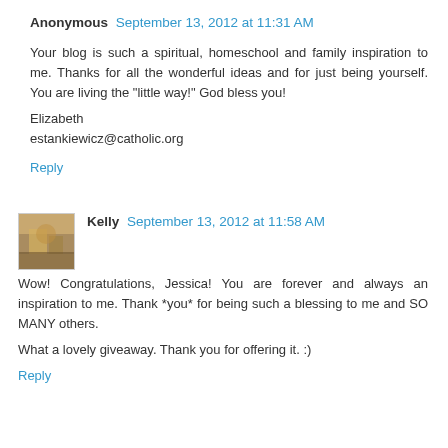Anonymous  September 13, 2012 at 11:31 AM
Your blog is such a spiritual, homeschool and family inspiration to me. Thanks for all the wonderful ideas and for just being yourself. You are living the "little way!" God bless you!

Elizabeth
estankiewicz@catholic.org
Reply
Kelly  September 13, 2012 at 11:58 AM
Wow! Congratulations, Jessica! You are forever and always an inspiration to me. Thank *you* for being such a blessing to me and SO MANY others.

What a lovely giveaway. Thank you for offering it. :)
Reply